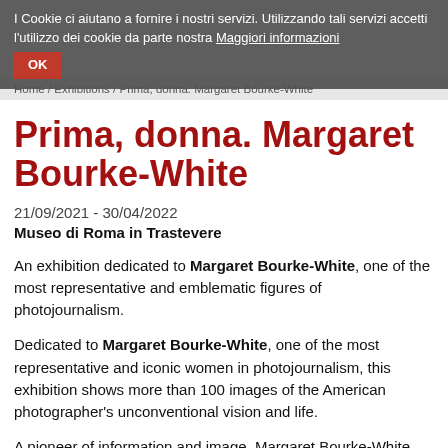I Cookie ci aiutano a fornire i nostri servizi. Utilizzando tali servizi accetti l'utilizzo dei cookie da parte nostra Maggiori informazioni
OK
Home / Exhibitions / Prima, donna. Margaret Bourke-White
Prima, donna. Margaret Bourke-White
21/09/2021 - 30/04/2022
Museo di Roma in Trastevere
An exhibition dedicated to Margaret Bourke-White, one of the most representative and emblematic figures of photojournalism.
Dedicated to Margaret Bourke-White, one of the most representative and iconic women in photojournalism, this exhibition shows more than 100 images of the American photographer's unconventional vision and life.
A pioneer of information and image, Margaret Bourke-White has